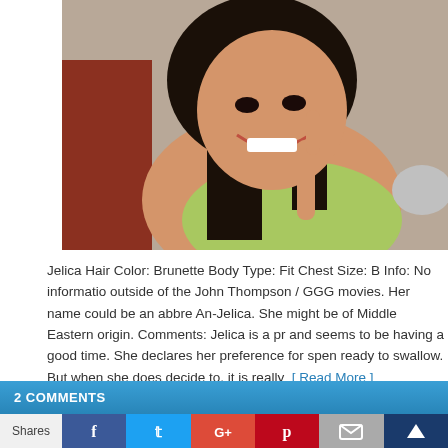[Figure (photo): A dark-haired woman smiling and gesturing with her hand, wearing a light green top, photographed indoors.]
Jelica Hair Color: Brunette Body Type: Fit Chest Size: B Info: No information outside of the John Thompson / GGG movies. Her name could be an abbreviation of An-Jelica. She might be of Middle Eastern origin. Comments: Jelica is a pretty girl and seems to be having a good time. She declares her preference for spending and seems ready to swallow. But when she does decide to, it is really  [ Read More ]
2 COMMENTS